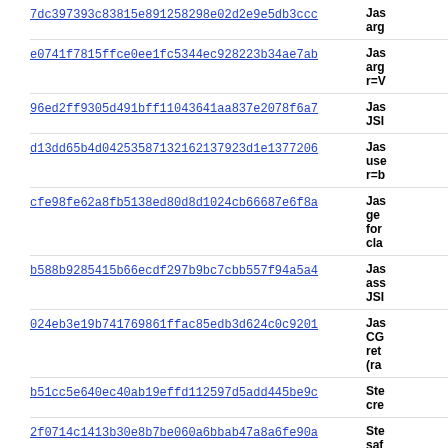7dc397393c83815e891258298e02d2e9e5db3ccc | Jas arg
e0741f7815ffce0ee1fc5344ec928223b34ae7ab | Jas arg r=V
96ed2ff9305d491bff11043641aa837e2078f6a7 | Jas JSI
d13dd65b4d04253587132162137923d1e1377206 | Jas use r=b
cfe98fe62a8fb5138ed80d8d1024cb66687e6f8a | Jas ge for cla
b588b9285415b66ecdf297b9bc7cbb557f94a5a4 | Jas ass JSI
024eb3e19b741769861ffac85edb3d624c0c9201 | Jas CG ret (ra
b51cc5e640ec40ab19effd112597d5add445be9c | Ste cre
2f0714c1413b30e8b7be060a6bbab47a8a6fe90a | Ste saf
950fadd70f9ebde26828cbb6999f3e0e5784e32c | Eri co
6b04f015e541e07ff631ac18473824f7fb065755 | Ma wa